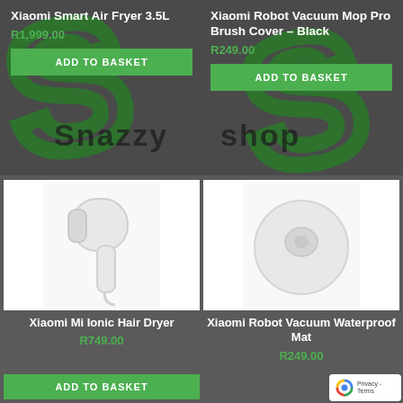[Figure (logo): Snazzy Shop logo watermark in green and black over dark grey background]
Xiaomi Smart Air Fryer 3.5L
R1,999.00
ADD TO BASKET
Xiaomi Robot Vacuum Mop Pro Brush Cover – Black
R249.00
ADD TO BASKET
[Figure (photo): Xiaomi Mi Ionic Hair Dryer - white hair dryer on white background]
Xiaomi Mi Ionic Hair Dryer
R749.00
ADD TO BASKET
[Figure (photo): Xiaomi Robot Vacuum Waterproof Mat - round white mat on white background]
Xiaomi Robot Vacuum Waterproof Mat
R249.00